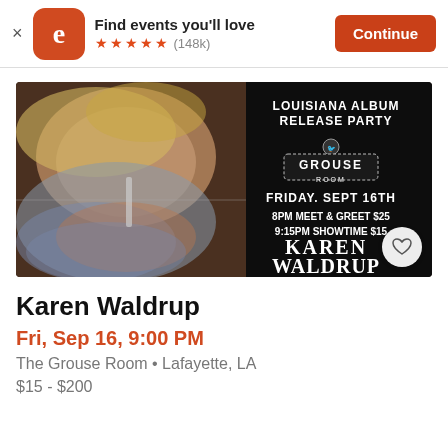Find events you'll love ★★★★★ (148k) Continue
[Figure (photo): Event promotional banner for Karen Waldrup Louisiana Album Release Party at Grouse Room. Shows a blonde woman posing with her reflection. Text on dark right side reads: LOUISIANA ALBUM RELEASE PARTY, GROUSE ROOM, FRIDAY. SEPT 16TH, 8PM MEET & GREET $25, 9:15PM SHOWTIME $15, KAREN WALDRUP]
Karen Waldrup
Fri, Sep 16, 9:00 PM
The Grouse Room • Lafayette, LA
$15 - $200